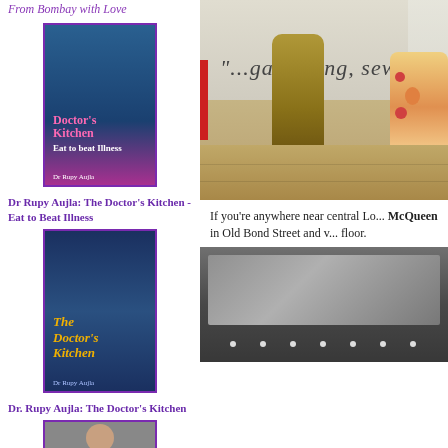From Bombay with Love
[Figure (photo): Book cover: Doctor's Kitchen - Eat to Beat Illness by Dr Rupy Aujla]
Dr Rupy Aujla: The Doctor's Kitchen - Eat to Beat Illness
[Figure (photo): Book cover: The Doctor's Kitchen by Dr Rupy Aujla]
Dr. Rupy Aujla: The Doctor's Kitchen
[Figure (photo): Book cover (third), partially visible]
[Figure (photo): Interior of Alexander McQueen store on Old Bond Street showing mannequins with dresses and hardwood floor, with text '...gardening, sewing,' on window]
If you're anywhere near central Lo... McQueen in Old Bond Street and v... floor.
[Figure (photo): Interior photo of what appears to be a mirrored room or hallway]